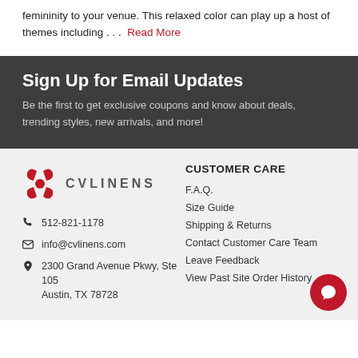femininity to your venue. This relaxed color can play up a host of themes including . . .  Read More
Sign Up for Email Updates
Be the first to get exclusive coupons and know about deals, trending styles, new arrivals, and more!
[Figure (logo): CV Linens logo with stylized red butterfly/flower icon and text CVLINENS]
512-821-1178
info@cvlinens.com
2300 Grand Avenue Pkwy, Ste 105
Austin, TX  78728
CUSTOMER CARE
F.A.Q.
Size Guide
Shipping & Returns
Contact Customer Care Team
Leave Feedback
View Past Site Order History